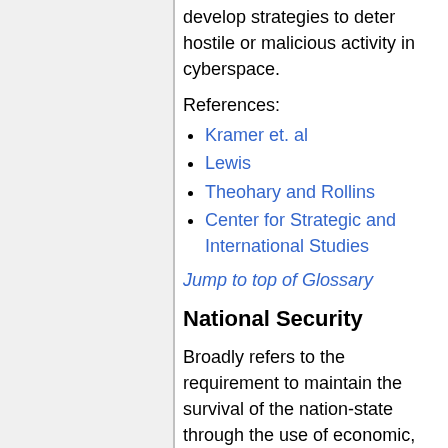develop strategies to deter hostile or malicious activity in cyberspace.
References:
Kramer et. al
Lewis
Theohary and Rollins
Center for Strategic and International Studies
Jump to top of Glossary
National Security
Broadly refers to the requirement to maintain the survival of the nation-state through the use of economic, military and political power and the exercise of diplomacy. Wikipedia
References:
Aloise